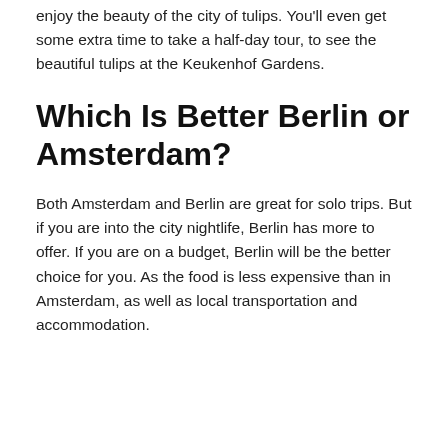enjoy the beauty of the city of tulips. You'll even get some extra time to take a half-day tour, to see the beautiful tulips at the Keukenhof Gardens.
Which Is Better Berlin or Amsterdam?
Both Amsterdam and Berlin are great for solo trips. But if you are into the city nightlife, Berlin has more to offer. If you are on a budget, Berlin will be the better choice for you. As the food is less expensive than in Amsterdam, as well as local transportation and accommodation.